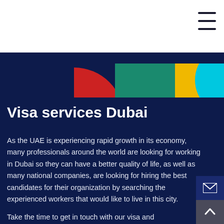Connect Resources
[Figure (illustration): Connect Resources logo with red and dark text on white background, hamburger menu icon top right]
[Figure (photo): Colorful banner strip showing overlapping circles in red, teal/green, yellow, and cyan/blue on dark navy background]
Visa services Dubai
As the UAE is experiencing rapid growth in its economy, many professionals around the world are looking for working in Dubai so they can have a better quality of life, as well as many national companies, are looking for hiring the best candidates for their organization by searching the experienced workers that would like to live in this city.
Take the time to get in touch with our visa and